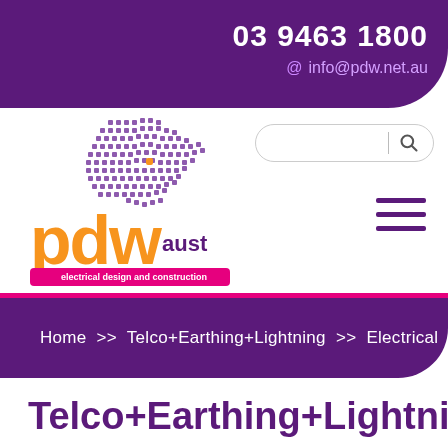03 9463 1800  info@pdw.net.au
[Figure (logo): PDW Aust electrical design and construction logo with Australia map made of purple dots and orange 'pdw' lettering]
Home >> Telco+Earthing+Lightning >> Electrical
Telco+Earthing+Lightning